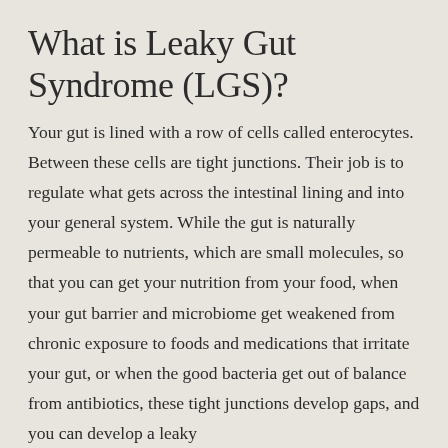What is Leaky Gut Syndrome (LGS)?
Your gut is lined with a row of cells called enterocytes. Between these cells are tight junctions. Their job is to regulate what gets across the intestinal lining and into your general system. While the gut is naturally permeable to nutrients, which are small molecules, so that you can get your nutrition from your food, when your gut barrier and microbiome get weakened from chronic exposure to foods and medications that irritate your gut, or when the good bacteria get out of balance from antibiotics, these tight junctions develop gaps, and you can develop a leaky